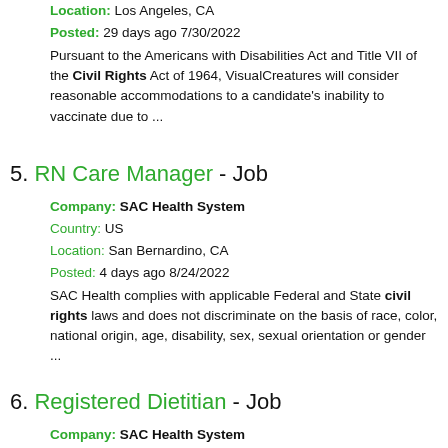Location: Los Angeles, CA
Posted: 29 days ago 7/30/2022
Pursuant to the Americans with Disabilities Act and Title VII of the Civil Rights Act of 1964, VisualCreatures will consider reasonable accommodations to a candidate's inability to vaccinate due to ...
5. RN Care Manager - Job
Company: SAC Health System
Country: US
Location: San Bernardino, CA
Posted: 4 days ago 8/24/2022
SAC Health complies with applicable Federal and State civil rights laws and does not discriminate on the basis of race, color, national origin, age, disability, sex, sexual orientation or gender ...
6. Registered Dietitian - Job
Company: SAC Health System
Country: US
Location: San Bernardino, CA
Posted: 10 days ago 8/18/2022
... civil rights laws and does not discriminate on the basis of race, color, national origin, age, disability, sex, sexual orientation or gender identity.